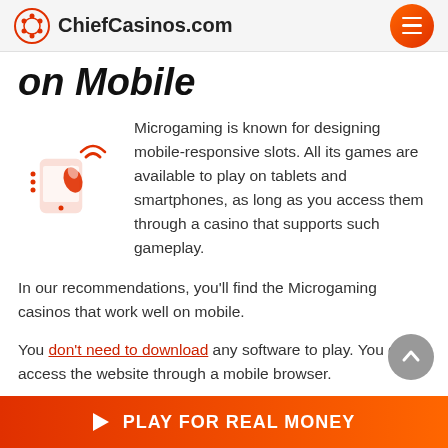ChiefCasinos.com
on Mobile
[Figure (illustration): Orange icon of a hand finger tapping a mobile phone with signal/wifi lines]
Microgaming is known for designing mobile-responsive slots. All its games are available to play on tablets and smartphones, as long as you access them through a casino that supports such gameplay.
In our recommendations, you'll find the Microgaming casinos that work well on mobile.
You don't need to download any software to play. You can access the website through a mobile browser.
PLAY FOR REAL MONEY